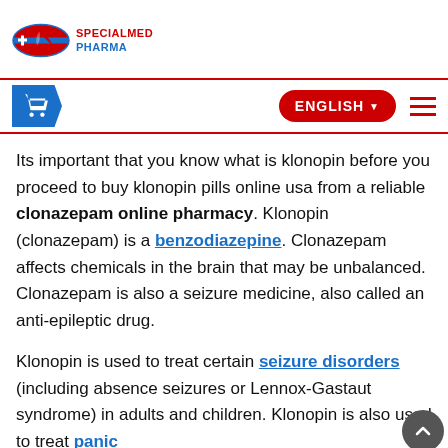[Figure (logo): SpecialMed Pharma logo with red pill graphic and blue/red text]
[Figure (screenshot): Navigation bar with blue cart button, ENGLISH language selector, and hamburger menu]
Its important that you know what is klonopin before you proceed to buy klonopin pills online usa from a reliable clonazepam online pharmacy. Klonopin (clonazepam) is a benzodiazepine. Clonazepam affects chemicals in the brain that may be unbalanced. Clonazepam is also a seizure medicine, also called an anti-epileptic drug.
Klonopin is used to treat certain seizure disorders (including absence seizures or Lennox-Gastaut syndrome) in adults and children. Klonopin is also used to treat panic